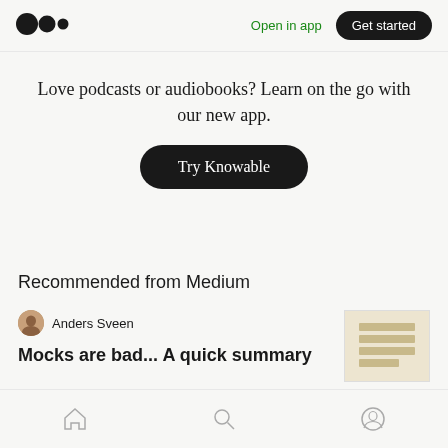Medium logo | Open in app | Get started
Love podcasts or audiobooks? Learn on the go with our new app.
Try Knowable
Recommended from Medium
Anders Sveen
Mocks are bad... A quick summary
Home | Search | Profile